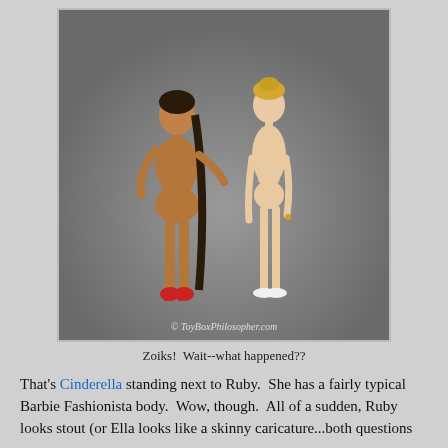[Figure (photo): Two fashion dolls standing side by side against a gray background. The left doll has dark hair in a long braid, a curvier body, and red high-heeled shoes. The right doll has blonde hair in an updo, a slender typical Barbie body, and white shoes. Watermark reads '© ToyBoxPhilosopher.com']
Zoiks!  Wait--what happened??
That's Cinderella standing next to Ruby.  She has a fairly typical Barbie Fashionista body.  Wow, though.  All of a sudden, Ruby looks stout (or Ella looks like a skinny caricature...both questions are valid).